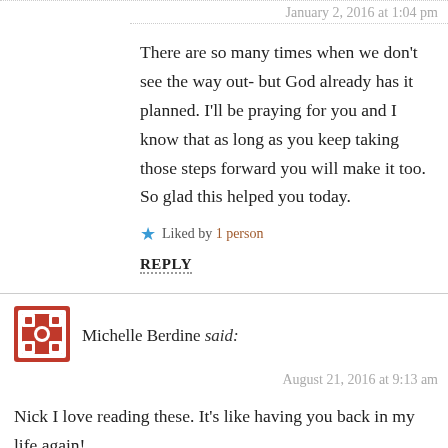January 2, 2016 at 1:04 pm
There are so many times when we don't see the way out- but God already has it planned. I'll be praying for you and I know that as long as you keep taking those steps forward you will make it too. So glad this helped you today.
Liked by 1 person
REPLY
Michelle Berdine said:
August 21, 2016 at 9:13 am
Nick I love reading these. It's like having you back in my life again!